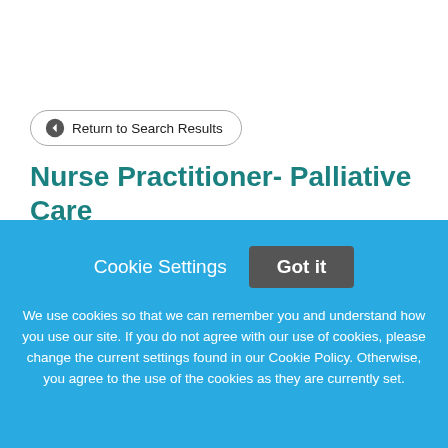← Return to Search Results
Nurse Practitioner- Palliative Care
JOB SUMMARYThe NP Medical Specialty is a licensed, certified, non-physician healthcare provider who actively
Cookie Settings
Got it
We use cookies so that we can remember you and understand how you use our site. If you do not agree with our use of cookies, please change the current settings found in our Cookie Policy. Otherwise, you agree to the use of the cookies as they are currently set.